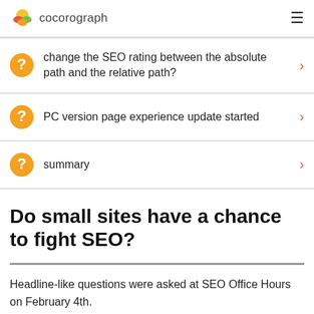cocorograph
change the SEO rating between the absolute path and the relative path?
PC version page experience update started
summary
Do small sites have a chance to fight SEO?
Headline-like questions were asked at SEO Office Hours on February 4th.